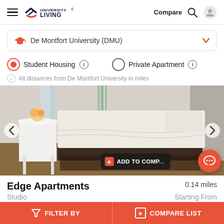University Living — Compare
De Montfort University (DMU)
Student Housing   Private Apartment
All distances from De Montfort University in miles
[Figure (photo): Bedroom interior with white bed, white side table with flowers, hardwood floor]
ADD TO COMPARE
Edge Apartments   0.14 miles
Studio   Starting From
FILTER BY   COMPARE LIST